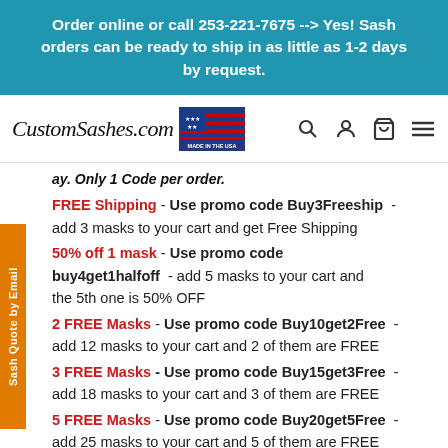Order online or call 253-221-7675 --> Yes! Sash orders can be ready to ship in as little as 1-2 days by request.
[Figure (logo): CustomSashes.com logo with Made in the USA flag badge and navigation icons (search, account, cart, menu)]
ay. Only 1 Code per order.
FREE Shipping - Use promo code Buy3Freeship - add 3 masks to your cart and get Free Shipping
50% off 1 mask - Use promo code buy4get1halfoff - add 5 masks to your cart and the 5th one is 50% OFF
2 FREE Masks - Use promo code Buy10get2Free - add 12 masks to your cart and 2 of them are FREE
3 FREE Masks - Use promo code Buy15get3Free - add 18 masks to your cart and 3 of them are FREE
5 FREE Masks - Use promo code Buy20get5Free - add 25 masks to your cart and 5 of them are FREE